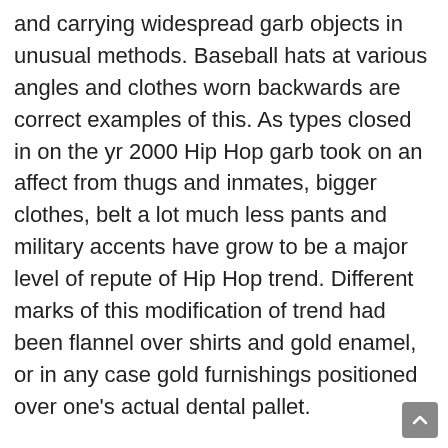and carrying widespread garb objects in unusual methods. Baseball hats at various angles and clothes worn backwards are correct examples of this. As types closed in on the yr 2000 Hip Hop garb took on an affect from thugs and inmates, bigger clothes, belt a lot much less pants and military accents have grow to be a major level of repute of Hip Hop trend. Different marks of this modification of trend had been flannel over shirts and gold enamel, or in any case gold furnishings positioned over one's actual dental pallet.
At the moment there are quite a few places whereby Hip Hop garb may be obtained. A number of the handiest items might also come from the nook thrift save or flea market, nevertheless because the Hip Hop type has improved in complexity and repute it has been picked up via many large markets, charging an enormous greenback for what they